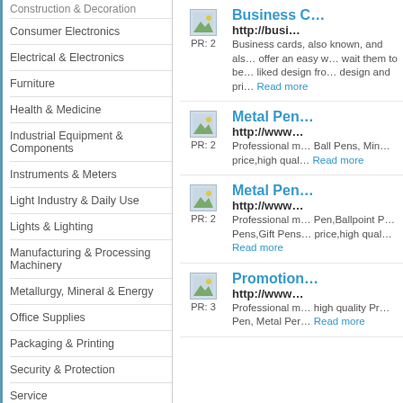Construction & Decoration
Consumer Electronics
Electrical & Electronics
Furniture
Health & Medicine
Industrial Equipment & Components
Instruments & Meters
Light Industry & Daily Use
Lights & Lighting
Manufacturing & Processing Machinery
Metallurgy, Mineral & Energy
Office Supplies
Packaging & Printing
Security & Protection
Service
Sporting Goods & Recreation
[Figure (other): Thumbnail image with PR: 2 label - Business Cards listing]
Business C...
http://busi...
Business cards, also known, and als... offer an easy w... wait them to be... liked design fro... design and pri...
Read more
[Figure (other): Thumbnail image with PR: 2 label - Metal Pen listing]
Metal Pen...
http://www....
Professional m... Ball Pens, Min... price,high qual...
Read more
[Figure (other): Thumbnail image with PR: 2 label - Metal Pen listing 2]
Metal Pen...
http://www....
Professional m... Pen,Ballpoint P... Pens,Gift Pens... price,high qual...
Read more
[Figure (other): Thumbnail image with PR: 3 label - Promotion listing]
Promotion...
http://www....
Professional m... high quality Pr... Pen, Metal Per...
Read more